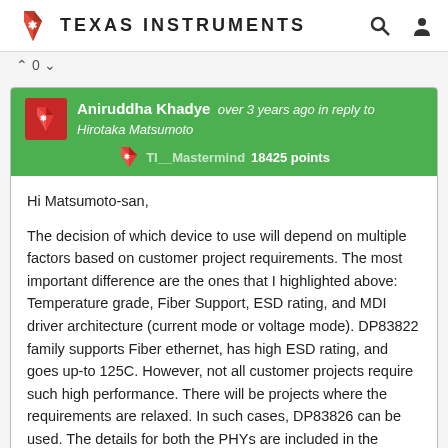Texas Instruments
^ 0 v
Aniruddha Khadye  over 3 years ago in reply to Hirotaka Matsumoto
TI_Mastermind 18425 points
Hi Matsumoto-san,

The decision of which device to use will depend on multiple factors based on customer project requirements. The most important difference are the ones that I highlighted above: Temperature grade, Fiber Support, ESD rating, and MDI driver architecture (current mode or voltage mode). DP83822 family supports Fiber ethernet, has high ESD rating, and goes up-to 125C. However, not all customer projects require such high performance. There will be projects where the requirements are relaxed. In such cases, DP83826 can be used. The details for both the PHYs are included in the datasheet. Please note that even though certain specifications are relaxed for DP83826I, it is still able to meet industrial requirements like 125C temperature, EMC...